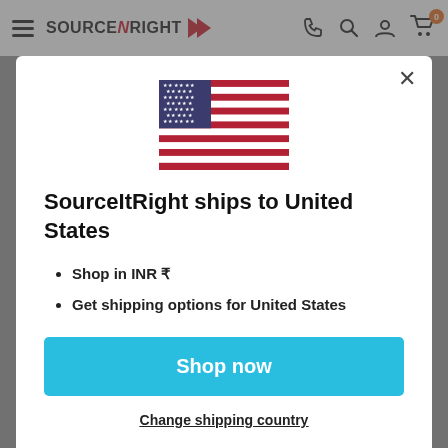[Figure (screenshot): SourceItRight e-commerce website header/navbar with hamburger menu, logo, phone, search, account and cart icons]
[Figure (illustration): United States flag SVG illustration]
SourceItRight ships to United States
Shop in INR ₹
Get shipping options for United States
Shop now
Change shipping country
water-resistant. They have a dense molecular structure; hence, they are resilient and durable